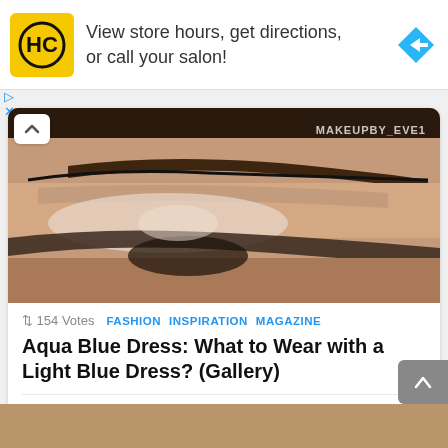[Figure (screenshot): Advertisement banner for HC (Hair Club) salon services: yellow square logo with HC text, ad copy 'View store hours, get directions, or call your salon!', blue diamond navigation arrow on right]
[Figure (photo): Close-up photo of a woman's eye with dramatic eye makeup including shaped eyebrow and smoky eye shadow. Watermark reads MAKEUPBY_EVE1]
↕ 154 Votes   FASHION  INSPIRATION  MAGAZINE
Aqua Blue Dress: What to Wear with a Light Blue Dress? (Gallery)
+154